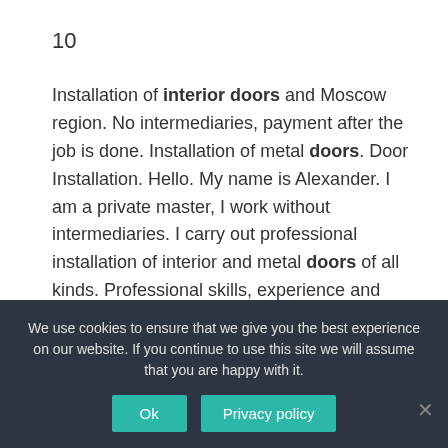10
Installation of interior doors and Moscow region. No intermediaries, payment after the job is done. Installation of metal doors. Door Installation. Hello. My name is Alexander. I am a private master, I work without intermediaries. I carry out professional installation of interior and metal doors of all kinds. Professional skills, experience and special power tools help me to do my job qualitatively. That is why I provide a 1-year warranty on my services. I will
We use cookies to ensure that we give you the best experience on our website. If you continue to use this site we will assume that you are happy with it.
Ok
Privacy policy